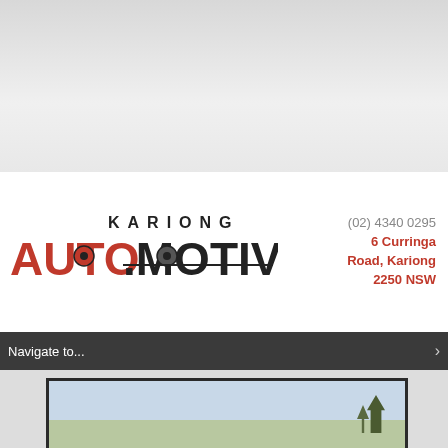[Figure (logo): Gray gradient top banner area]
[Figure (logo): Kariong Automotive logo with red AUTO text and black MOTIVE and KARIONG text]
(02) 4340 0295
6 Curringa Road, Kariong
2250 NSW
Navigate to...
[Figure (photo): Partial bottom image showing a framed photo with sky and vegetation/plants]